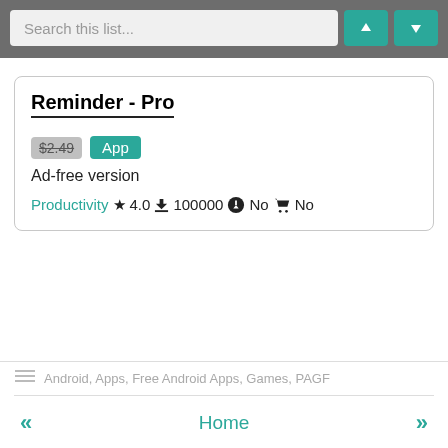[Figure (screenshot): Search bar with teal up/down arrow navigation buttons on dark grey background]
Reminder - Pro
$2.49 App
Ad-free version
Productivity ★ 4.0 ⬇ 100000 ⊘ No 🛒 No
Android, Apps, Free Android Apps, Games, PAGF
« Home »
3 comments:
Manzafaka Bieber said...